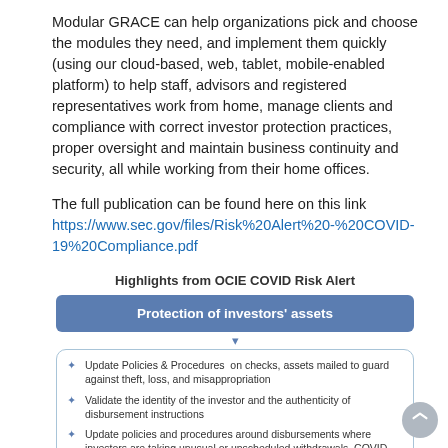Modular GRACE can help organizations pick and choose the modules they need, and implement them quickly (using our cloud-based, web, tablet, mobile-enabled platform) to help staff, advisors and registered representatives work from home, manage clients and compliance with correct investor protection practices, proper oversight and maintain business continuity and security, all while working from their home offices.
The full publication can be found here on this link https://www.sec.gov/files/Risk%20Alert%20-%20COVID-19%20Compliance.pdf
Highlights from OCIE COVID Risk Alert
[Figure (infographic): Blue rounded header bar reading 'Protection of investors' assets' with a chevron below, followed by a light-blue bordered box listing four bullet points about investor asset protection measures.]
Update Policies & Procedures on checks, assets mailed to guard against theft, loss, and misappropriation
Validate the identity of the investor and the authenticity of disbursement instructions
Update policies and procedures around disbursements where investors are taking unusual or unscheduled withdrawals, COVID-19 related distributions from their retirement accounts
Recommend that each investor has a trusted contact person in place, particularly for seniors and other vulnerable investors